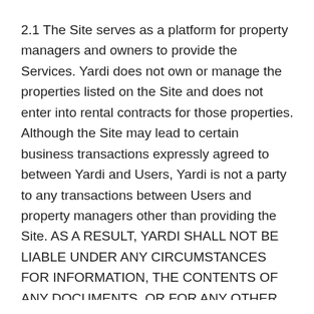2.1 The Site serves as a platform for property managers and owners to provide the Services. Yardi does not own or manage the properties listed on the Site and does not enter into rental contracts for those properties. Although the Site may lead to certain business transactions expressly agreed to between Yardi and Users, Yardi is not a party to any transactions between Users and property managers other than providing the Site. AS A RESULT, YARDI SHALL NOT BE LIABLE UNDER ANY CIRCUMSTANCES FOR INFORMATION, THE CONTENTS OF ANY DOCUMENTS, OR FOR ANY OTHER INTERACTIONS BY, BETWEEN OR AMONG USERS, PROPERTY MANAGERS OR OWNERS THROUGH THE SITE.
2.2 You are responsible for how you use the Site, and Yardi encourages anyone who accesses the Site, including Users, to exercise sound judgment when